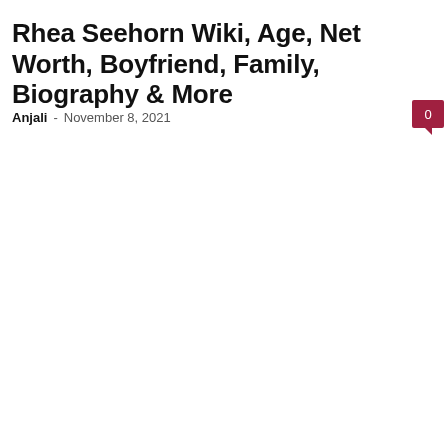Rhea Seehorn Wiki, Age, Net Worth, Boyfriend, Family, Biography & More
Anjali - November 8, 2021
[Figure (other): Comment count badge showing 0, dark red square with speech bubble pointer]